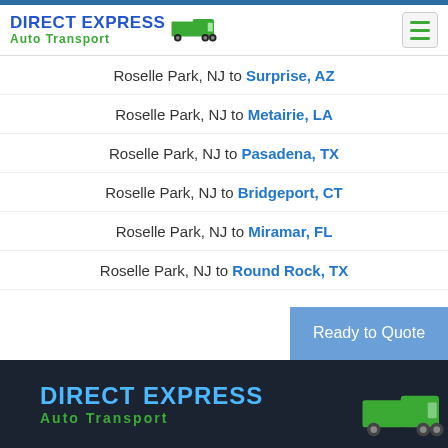DIRECT EXPRESS Auto Transport
Roselle Park, NJ to Surprise, AZ
Roselle Park, NJ to Metairie, LA
Roselle Park, NJ to Pasadena, TX
Roselle Park, NJ to Bridgeport, CT
Roselle Park, NJ to Miramar, FL
Roselle Park, NJ to Round Rock, TX
Ready to Quote
DIRECT EXPRESS Auto Transport